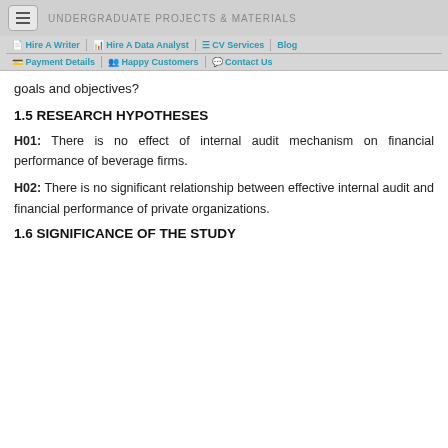UNDERGRADUATE PROJECTS & MATERIALS
Hire A Writer | Hire A Data Analyst | CV Services | Blog | Payment Details | Happy Customers | Contact Us
goals and objectives?
1.5 RESEARCH HYPOTHESES
H01: There is no effect of internal audit mechanism on financial performance of beverage firms.
H02: There is no significant relationship between effective internal audit and financial performance of private organizations.
1.6 SIGNIFICANCE OF THE STUDY